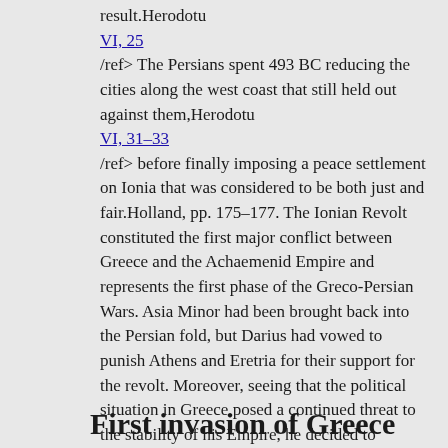result.Herodotu VI, 25 /ref> The Persians spent 493 BC reducing the cities along the west coast that still held out against them,Herodotu VI, 31–33 /ref> before finally imposing a peace settlement on Ionia that was considered to be both just and fair.Holland, pp. 175–177. The Ionian Revolt constituted the first major conflict between Greece and the Achaemenid Empire and represents the first phase of the Greco-Persian Wars. Asia Minor had been brought back into the Persian fold, but Darius had vowed to punish Athens and Eretria for their support for the revolt. Moreover, seeing that the political situation in Greece posed a continued threat to the stability of his Empire, he decided to embark on the conquest of all Greece.
First invasion of Greece